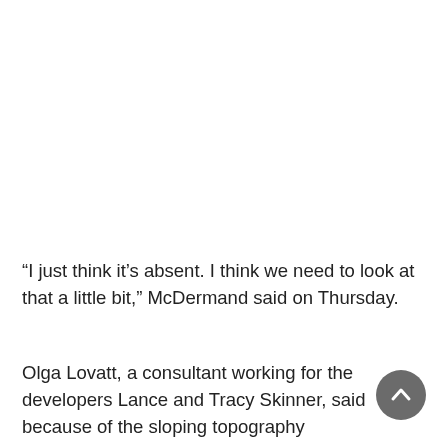“I just think it’s absent. I think we need to look at that a little bit,” McDermand said on Thursday.
Olga Lovatt, a consultant working for the developers Lance and Tracy Skinner, said because of the sloping topography